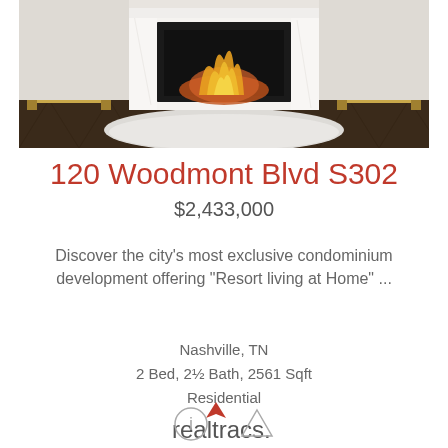[Figure (photo): Interior photo of a luxury condominium featuring a white marble fireplace with fire burning inside, herringbone dark wood floor, and white fur rug]
120 Woodmont Blvd S302
$2,433,000
Discover the city's most exclusive condominium development offering "Resort living at Home" ...
Nashville, TN
2 Bed, 2½ Bath, 2561 Sqft
Residential
[Figure (logo): Realtracs logo with red arrow/navigation icon above the text 'realtracs.']